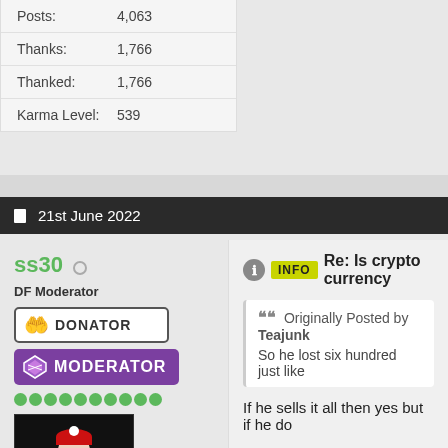| Posts: | 4,063 |
| Thanks: | 1,766 |
| Thanked: | 1,766 |
| Karma Level: | 539 |
21st June 2022
ss30
DF Moderator
[Figure (other): DONATOR badge with hands/heart icon]
[Figure (other): MODERATOR badge with diamond/shield icon in purple]
[Figure (other): Row of green karma dots]
[Figure (photo): Avatar image of anime character with red hat and blue outfit on black background]
Re: Is crypto currency
Originally Posted by Teajunk
So he lost six hundred just like
If he sells it all then yes but if he do